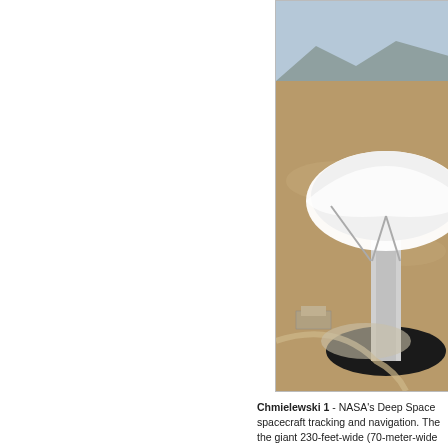[Figure (photo): Aerial photograph of a NASA Deep Space Network large parabolic dish antenna in a desert landscape with mountains in the background. The giant white dish dominates the foreground, with support buildings and roads visible below.]
Chmielewski 1 - NASA's Deep Space spacecraft tracking and navigation. The giant 230-feet-wide (70-meter-wide